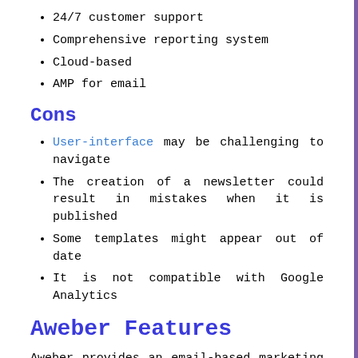24/7 customer support
Comprehensive reporting system
Cloud-based
AMP for email
Cons
User-interface may be challenging to navigate
The creation of a newsletter could result in mistakes when it is published
Some templates might appear out of date
It is not compatible with Google Analytics
Aweber Features
Aweber provides an email-based marketing service for businesses and individuals. It permits users to design campaigns and newsletters for any item or service built upon HTML templates. As an online platform, it makes use of